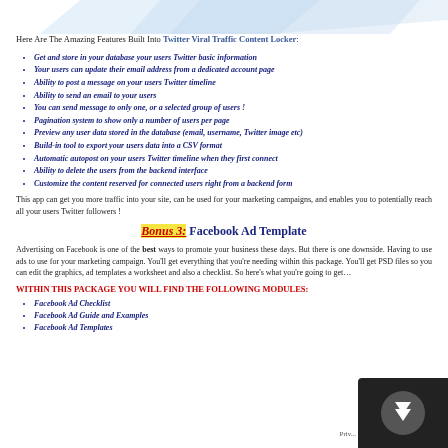[Figure (illustration): Decorative banner/graphic at the top of the page, light blue diagonal shapes]
Here Are The Amazing Features Built Into Twitter Viral Traffic Content Locker:
Get and store in your database your users Twitter basic information
Your users can update their email address from a dedicated account page
Ability to post a message on your users Twitter timeline
Ability to send an email to your users
You can send message to only one, or a selected group of users !
Pagination system to show only a number of users per page
Preview any user data stored in the database (email, username, Twitter image etc)
Build-in tool to export your users data into a CSV format
Automatic autopost on your users Twitter timeline when they first connect
Ability to delete the users from the backend interface
Customize the content reserved for connected users right from a backend form
This app can get you more traffic into your site, can be used for your marketing campaigns, and enables you to potentially reach all your users Twitter followers !
Bonus 3: Facebook Ad Template
Advertising on Facebook is one of the best ways to promote your business these days. But there is one downside. Having to use ads to use for your marketing campaign. You'll get everything that you're needing within this package. You'll get PSD files so you can edit the graphics, ad templates a worksheet and also a checklist. So here's what you're going to get...
WITHIN THIS PACKAGE YOU WILL FIND THE FOLLOWING MODULES:
Facebook Ad Checklist
Facebook Ad Guide and Examples
Facebook Ad Templates